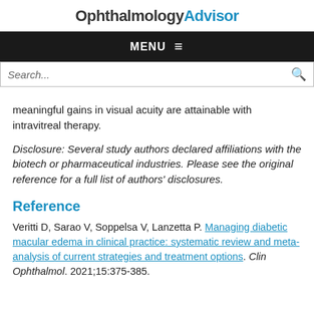OphthalmologyAdvisor
MENU ≡
Search...
meaningful gains in visual acuity are attainable with intravitreal therapy.
Disclosure: Several study authors declared affiliations with the biotech or pharmaceutical industries. Please see the original reference for a full list of authors' disclosures.
Reference
Veritti D, Sarao V, Soppelsa V, Lanzetta P. Managing diabetic macular edema in clinical practice: systematic review and meta-analysis of current strategies and treatment options. Clin Ophthalmol. 2021;15:375-385.